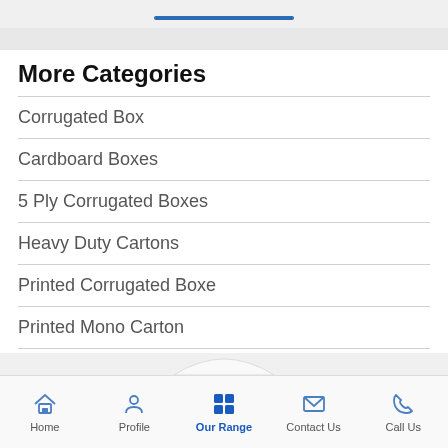More Categories
Corrugated Box
Cardboard Boxes
5 Ply Corrugated Boxes
Heavy Duty Cartons
Printed Corrugated Boxe
Printed Mono Carton
View All Categories »
Home   Profile   Our Range   Contact Us   Call Us